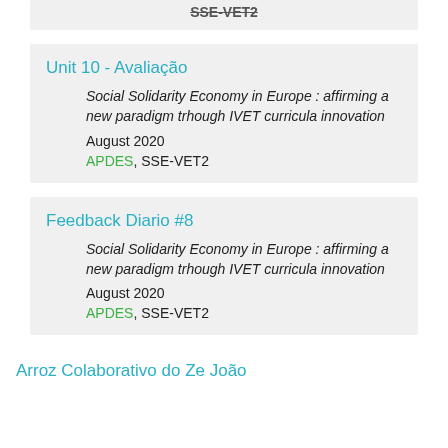Unit 10 - Avaliação
Social Solidarity Economy in Europe : affirming a new paradigm trhough IVET curricula innovation
August 2020
APDES, SSE-VET2
Feedback Diario #8
Social Solidarity Economy in Europe : affirming a new paradigm trhough IVET curricula innovation
August 2020
APDES, SSE-VET2
Arroz Colaborativo do Ze João